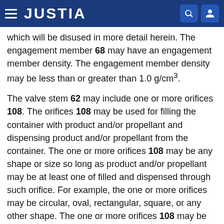JUSTIA
which will be disused in more detail herein. The engagement member 68 may have an engagement member density. The engagement member density may be less than or greater than 1.0 g/cm³.
The valve stem 62 may include one or more orifices 108. The orifices 108 may be used for filling the container with product and/or propellant and dispensing product and/or propellant from the container. The one or more orifices 108 may be any shape or size so long as product and/or propellant may be at least one of filled and dispensed through such orifice. For example, the one or more orifices may be circular, oval, rectangular, square, or any other shape. The one or more orifices 108 may be tapered. For a valve stem 62 including two or more orifices, each of the orifices may be the same or different shapes and may be the same or different sizes.